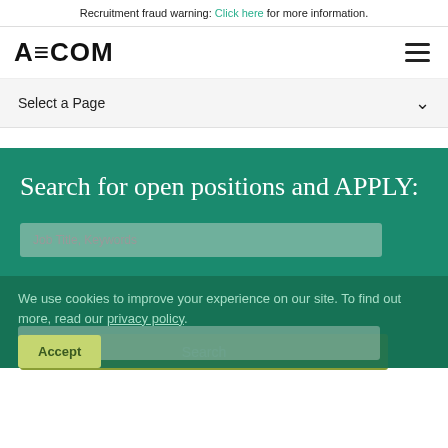Recruitment fraud warning: Click here for more information.
[Figure (logo): AECOM company logo in bold black text]
Select a Page
Search for open positions and APPLY:
Job Title, Keywords
Dublin, IRL
We use cookies to improve your experience on our site. To find out more, read our privacy policy.
Accept
Search